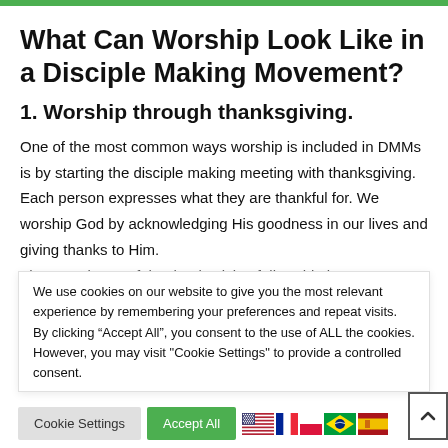What Can Worship Look Like in a Disciple Making Movement?
1. Worship through thanksgiving.
One of the most common ways worship is included in DMMs is by starting the disciple making meeting with thanksgiving. Each person expresses what they are thankful for. We worship God by acknowledging His goodness in our lives and giving thanks to Him.
We use cookies on our website to give you the most relevant experience by remembering your preferences and repeat visits. By clicking “Accept All”, you consent to the use of ALL the cookies. However, you may visit "Cookie Settings" to provide a controlled consent.